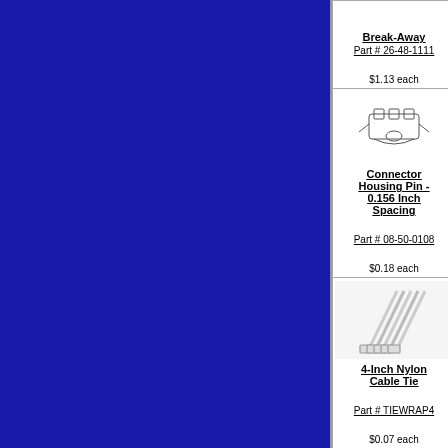[Figure (photo): Product catalog grid showing hardware/electronics items including connector housing pin, hand crimper/stripper tool, cable ties, soldering kit, wire nut, and partial rows above and below]
| Product 1 | Product 2 | Product 3 |
| --- | --- | --- |
| Break-Away
Part # 26-48-1111
$1.13 each | Part # 15-04-0297
$0.20 each | w/Lock-
Part # 26-60-
$1.85 each |
| Connector Housing Pin - 0.156 Inch Spacing
Part # 08-50-0108
$0.18 each | Hand Crimper / Stripper Tool
Part # HCT9900
$24.95 each | 0.156 Inch Wire Insert Punchdown
Part # 13-3-
$51.99 ea |
| 4-Inch Nylon Cable Tie
Part # TIEWRAP4
$0.07 each | Soldering Kit - 30-Watt General Purpose (4 pcs)
Part # SI-30-KIT
$23.34 set | Wire Nut -Sn 16-20ga
Part # WIREI-
$0.25 each |
| (partial row image) | (partial row image) | (partial row image) |